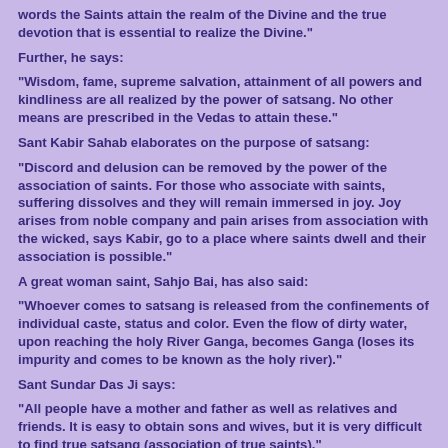words the Saints attain the realm of the Divine and the true devotion that is essential to realize the Divine."
Further, he says:
"Wisdom, fame, supreme salvation, attainment of all powers and kindliness are all realized by the power of satsang. No other means are prescribed in the Vedas to attain these."
Sant Kabir Sahab elaborates on the purpose of satsang:
"Discord and delusion can be removed by the power of the association of saints. For those who associate with saints, suffering dissolves and they will remain immersed in joy. Joy arises from noble company and pain arises from association with the wicked, says Kabir, go to a place where saints dwell and their association is possible."
A great woman saint, Sahjo Bai, has also said:
"Whoever comes to satsang is released from the confinements of individual caste, status and color. Even the flow of dirty water, upon reaching the holy River Ganga, becomes Ganga (loses its impurity and comes to be known as the holy river)."
Sant Sundar Das Ji says:
"All people have a mother and father as well as relatives and friends. It is easy to obtain sons and wives, but it is very difficult to find true satsang (association of true saints)."